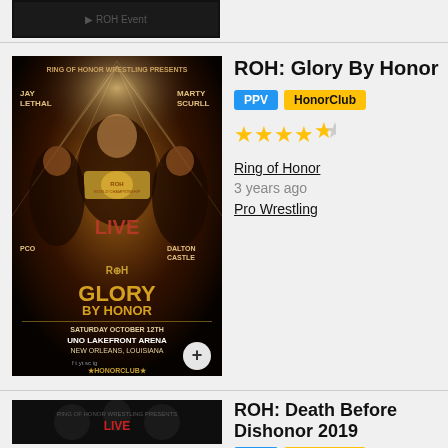[Figure (photo): Partial thumbnail of a wrestling event poster at top of page]
[Figure (photo): ROH Glory By Honor event poster - Ring of Honor Wrestling, Saturday October 12th, UNO Lakefront Arena, New Orleans, Louisiana. Features Jay Lethal, Marty Scurll, PCO, Dalton Castle.]
ROH: Glory By Honor
PPV  HonorClub
★★★★½
Ring of Honor
3 years ago
Pro Wrestling
[Figure (photo): ROH Death Before Dishonor 2019 event poster - Ring of Honor Wrestling, features wrestlers with goat skull imagery]
ROH: Death Before Dishonor 2019
PPV  HonorClub
★★★★